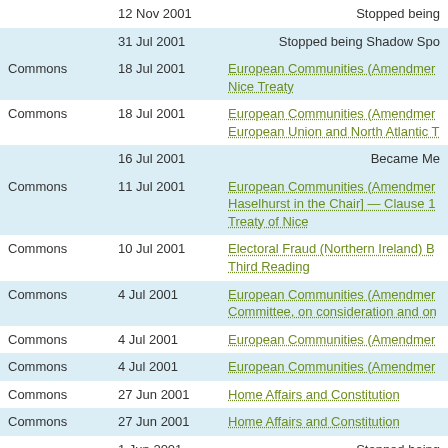| House | Date | Subject |
| --- | --- | --- |
|  | 12 Nov 2001 | Stopped being |
|  | 31 Jul 2001 | Stopped being Shadow Spo |
| Commons | 18 Jul 2001 | European Communities (Amendment Nice Treaty |
| Commons | 18 Jul 2001 | European Communities (Amendment European Union and North Atlantic T |
|  | 16 Jul 2001 | Became Me |
| Commons | 11 Jul 2001 | European Communities (Amendment Haselhurst in the Chair] — Clause 1 Treaty of Nice |
| Commons | 10 Jul 2001 | Electoral Fraud (Northern Ireland) B Third Reading |
| Commons | 4 Jul 2001 | European Communities (Amendment Committee, on consideration and on |
| Commons | 4 Jul 2001 | European Communities (Amendment |
| Commons | 4 Jul 2001 | European Communities (Amendment |
| Commons | 27 Jun 2001 | Home Affairs and Constitution |
| Commons | 27 Jun 2001 | Home Affairs and Constitution |
|  | 1 Jun 2001 | Stopped being |
| House | Date | Subject |